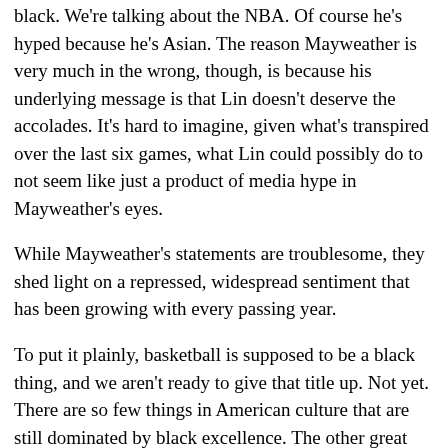black. We're talking about the NBA. Of course he's hyped because he's Asian. The reason Mayweather is very much in the wrong, though, is because his underlying message is that Lin doesn't deserve the accolades. It's hard to imagine, given what's transpired over the last six games, what Lin could possibly do to not seem like just a product of media hype in Mayweather's eyes.
While Mayweather's statements are troublesome, they shed light on a repressed, widespread sentiment that has been growing with every passing year.
To put it plainly, basketball is supposed to be a black thing, and we aren't ready to give that title up. Not yet. There are so few things in American culture that are still dominated by black excellence. The other great black mainstay, hip-hop, continues to diversify, but basketball was always supposed to stay ours.
In all major athletics, color barriers were broken, and once the floodgates were opened, blacks began growing in numbers in the three major American sports: baseball, football, and basketball. I